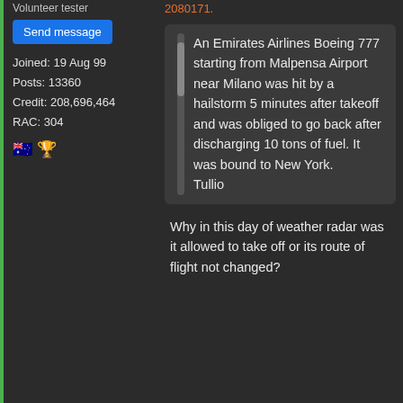Volunteer tester
Send message
Joined: 19 Aug 99
Posts: 13360
Credit: 208,696,464
RAC: 304
🇦🇺 🏆
2080171.
An Emirates Airlines Boeing 777 starting from Malpensa Airport near Milano was hit by a hailstorm 5 minutes after takeoff and was obliged to go back after discharging 10 tons of fuel. It was bound to New York.
Tullio
Why in this day of weather radar was it allowed to take off or its route of flight not changed?